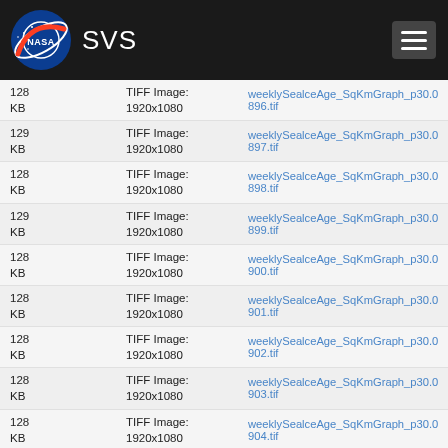[Figure (logo): NASA SVS website header with NASA logo and SVS text on dark background with hamburger menu button]
128 KB  TIFF Image: 1920x1080  weeklySealceAge_SqKmGraph_p30.0896.tif
129 KB  TIFF Image: 1920x1080  weeklySealceAge_SqKmGraph_p30.0897.tif
128 KB  TIFF Image: 1920x1080  weeklySealceAge_SqKmGraph_p30.0898.tif
129 KB  TIFF Image: 1920x1080  weeklySealceAge_SqKmGraph_p30.0899.tif
128 KB  TIFF Image: 1920x1080  weeklySealceAge_SqKmGraph_p30.0900.tif
128 KB  TIFF Image: 1920x1080  weeklySealceAge_SqKmGraph_p30.0901.tif
128 KB  TIFF Image: 1920x1080  weeklySealceAge_SqKmGraph_p30.0902.tif
128 KB  TIFF Image: 1920x1080  weeklySealceAge_SqKmGraph_p30.0903.tif
128 KB  TIFF Image: 1920x1080  weeklySealceAge_SqKmGraph_p30.0904.tif
128 KB  TIFF Image:  weeklySealceAge_SqKmGraph_p30.0905.tif